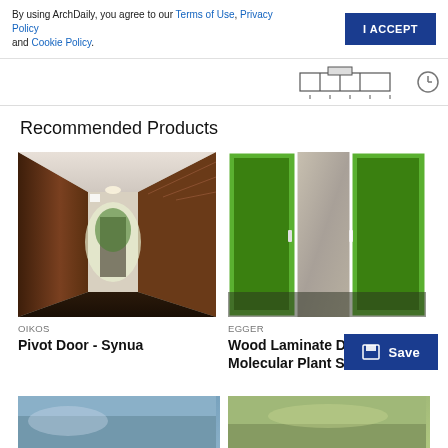By using ArchDaily, you agree to our Terms of Use, Privacy Policy and Cookie Policy.
[Figure (schematic): Engineering/architectural schematic drawing showing a cross-section detail, partially visible in the top right area]
Recommended Products
[Figure (photo): Interior corridor with dark wood walls and dark wood flooring, showing a pivot door open to outdoor greenery - Oikos Pivot Door Synua product photo]
Oikos
Pivot Door - Synua
[Figure (photo): Two green laminate doors in a concrete wall interior - EGGER Wood Laminate Doors in Molecular Plant Science product photo]
EGGER
Wood Laminate Doors in Molecular Plant Scien...
[Figure (photo): Partially visible product photo bottom left]
[Figure (photo): Partially visible product photo bottom right]